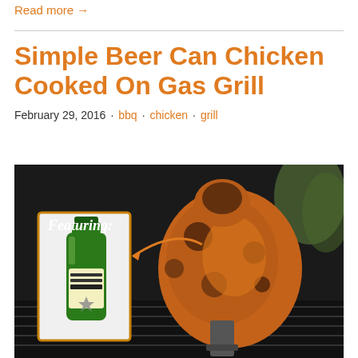Read more →
Simple Beer Can Chicken Cooked On Gas Grill
February 29, 2016  ·  bbq  ·  chicken  ·  grill
[Figure (photo): Photo of a whole roasted chicken on a beer can stand on a gas grill, with an inset showing a green bottle of 'Roast Chicken Seasoning' and text 'Featuring:' with an arrow pointing to the seasoning bottle.]